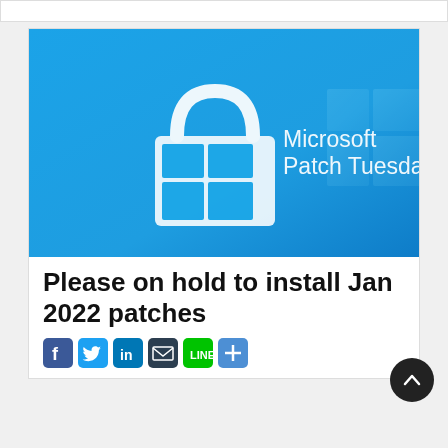[Figure (screenshot): Microsoft Patch Tuesday promotional image with blue gradient background, white padlock icon with Windows logo, and text 'Microsoft Patch Tuesday']
Please on hold to install Jan 2022 patches
[Figure (infographic): Social media share icons: Facebook (blue), Twitter (light blue), LinkedIn (dark blue), Email (dark blue envelope), Line (green), Share (blue plus)]
[Figure (illustration): Scroll-to-top circular dark button with upward arrow]